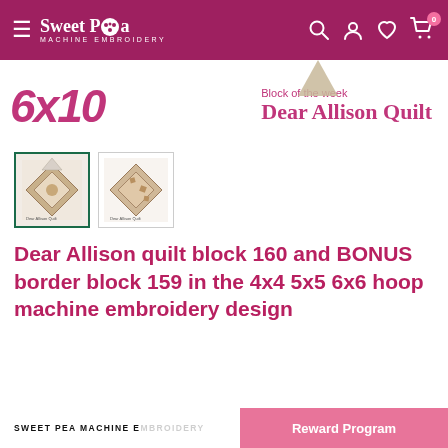Sweet Pea Machine Embroidery
[Figure (illustration): Banner showing '6x10' in pink italic and 'Block of the week Dear Allison Quilt' text with decorative triangle]
[Figure (photo): Two thumbnail product images of the Dear Allison quilt block embroidery design]
Dear Allison quilt block 160 and BONUS border block 159 in the 4x4 5x5 6x6 hoop machine embroidery design
SWEET PEA MACHINE EMBROIDERY  Reward Program